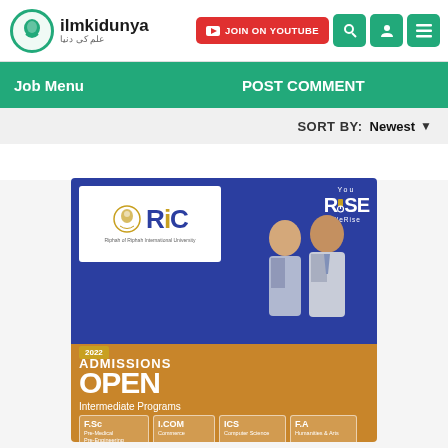[Figure (screenshot): ilmkidunya website header with logo, JOIN ON YOUTUBE button, search icon, profile icon, and menu icon]
Job Menu   POST COMMENT
SORT BY: Newest
[Figure (illustration): RIC (Riphah International University campus) 2022 Admissions Open advertisement banner showing two male students in uniforms, YouRise WeRise slogan, and four program boxes: F.Sc Pre-Medical Pre-Engineering, I.COM Commerce, ICS Computer Science, F.A Humanities & Arts]